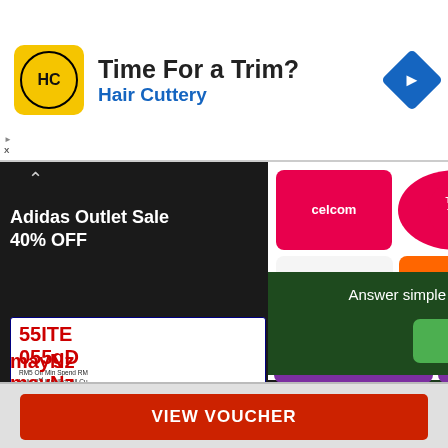[Figure (screenshot): Hair Cuttery ad banner with HC logo, 'Time For a Trim?' heading, 'Hair Cuttery' subtitle in blue, and blue diamond navigation arrow]
[Figure (screenshot): Dark background mobile app screen showing Adidas Outlet Sale 40% OFF text, coupon codes '55IT...' '055gD...' with RM5 off min spend, and 'mayNz...' text in red. Overlaid with a popup showing mobile reward logos (Celcom, Tune Talk, PayPal, AirAsia BIG, digi, U Mobile) and three purple reward boxes: RM60 Mobile Credit Top Up, RM70 PayPal Credit, 2500 AirAsia Big Points, with survey text 'Answer simple survey, get points & redeem for cash!' and green Sign Up button]
Time For a Trim?
Hair Cuttery
Adidas Outlet Sale
40% OFF
RM60
Mobile Credit
Top Up
RM70
PayPal
Credit
2500
AirAsia
Big Points
Answer simple survey, get points & redeem for cash!
» Sign Up
VIEW VOUCHER